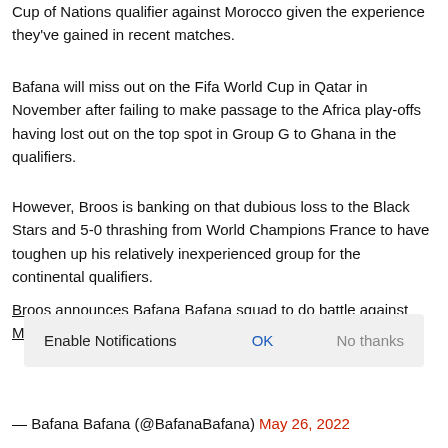Cup of Nations qualifier against Morocco given the experience they've gained in recent matches.
Bafana will miss out on the Fifa World Cup in Qatar in November after failing to make passage to the Africa play-offs having lost out on the top spot in Group G to Ghana in the qualifiers.
However, Broos is banking on that dubious loss to the Black Stars and 5-0 thrashing from World Champions France to have toughen up his relatively inexperienced group for the continental qualifiers.
Broos announces Bafana Bafana squad to do battle against M…
Enable Notifications  OK  No thanks
— Bafana Bafana (@BafanaBafana) May 26, 2022